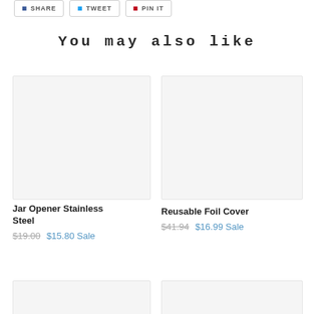SHARE  TWEET  PIN IT
You may also like
[Figure (photo): Product image placeholder for Jar Opener Stainless Steel]
Jar Opener Stainless Steel
$19.00  $15.80 Sale
[Figure (photo): Product image placeholder for Reusable Foil Cover]
Reusable Foil Cover
$41.94  $16.99 Sale
[Figure (photo): Product image placeholder (bottom left, partial)]
[Figure (photo): Product image placeholder (bottom right, partial)]